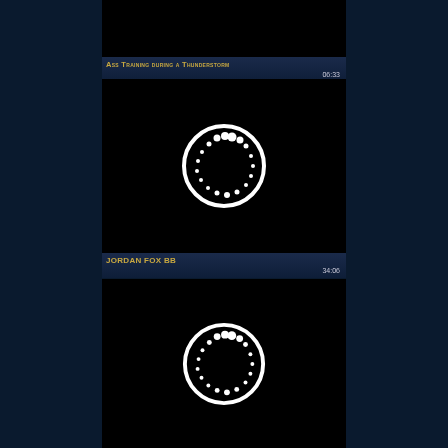[Figure (screenshot): Video thumbnail – black background, partial view]
Ass Training during a Thunderstorm
06:33
[Figure (screenshot): Video thumbnail – black background with loading spinner (white circle with dots)]
JORDAN FOX BB
34:06
[Figure (screenshot): Video thumbnail – black background with loading spinner (white circle with dots)]